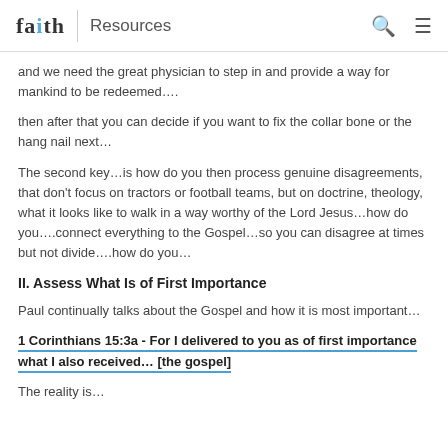faith Resources
and we need the great physician to step in and provide a way for mankind to be redeemed….
then after that you can decide if you want to fix the collar bone or the hang nail next…
The second key…is how do you then process genuine disagreements, that don't focus on tractors or football teams, but on doctrine, theology, what it looks like to walk in a way worthy of the Lord Jesus…how do you….connect everything to the Gospel…so you can disagree at times but not divide….how do you…
II. Assess What Is of First Importance
Paul continually talks about the Gospel and how it is most important…
1 Corinthians 15:3a - For I delivered to you as of first importance what I also received… [the gospel]
The reality is…